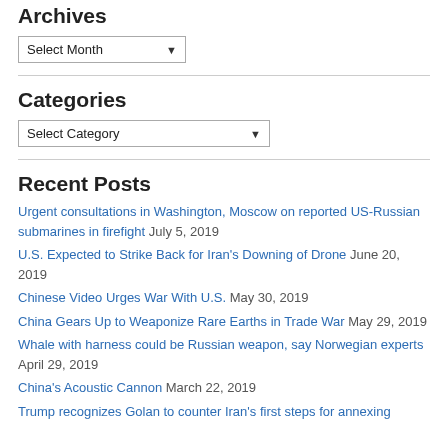Archives
Select Month (dropdown)
Categories
Select Category (dropdown)
Recent Posts
Urgent consultations in Washington, Moscow on reported US-Russian submarines in firefight July 5, 2019
U.S. Expected to Strike Back for Iran's Downing of Drone June 20, 2019
Chinese Video Urges War With U.S. May 30, 2019
China Gears Up to Weaponize Rare Earths in Trade War May 29, 2019
Whale with harness could be Russian weapon, say Norwegian experts April 29, 2019
China's Acoustic Cannon March 22, 2019
Trump recognizes Golan to counter Iran's first steps for annexing